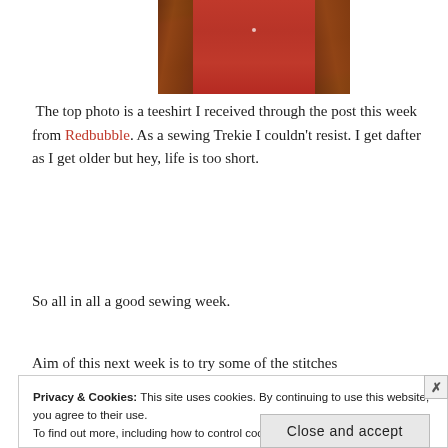[Figure (photo): Partial image of a red garment (teeshirt), cropped at top of page]
The top photo is a teeshirt I received through the post this week from Redbubble. As a sewing Trekie I couldn't resist. I get dafter as I get older but hey, life is too short.
So all in all a good sewing week.
Aim of this next week is to try some of the stitches
Privacy & Cookies: This site uses cookies. By continuing to use this website, you agree to their use.
To find out more, including how to control cookies, see here: Cookie Policy
Close and accept